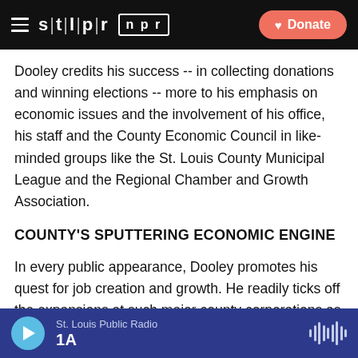stlpr | npr — Donate
Dooley credits his success -- in collecting donations and winning elections -- more to his emphasis on economic issues and the involvement of his office, his staff and the County Economic Council in like-minded groups like the St. Louis County Municipal League and the Regional Chamber and Growth Association.
COUNTY'S SPUTTERING ECONOMIC ENGINE
In every public appearance, Dooley promotes his quest for job creation and growth. He readily ticks off the expansions at such major county corporations as Pfizer, Edward Jones, Scottrade, Centene, Monsanto and Express Scripts.
St. Louis Public Radio — 1A